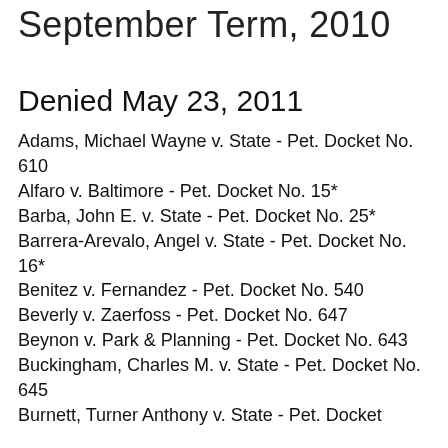September Term, 2010
Denied May 23, 2011
Adams, Michael Wayne v. State - Pet. Docket No. 610
Alfaro v. Baltimore - Pet. Docket No. 15*
Barba, John E. v. State - Pet. Docket No. 25*
Barrera-Arevalo, Angel v. State - Pet. Docket No. 16*
Benitez v. Fernandez - Pet. Docket No. 540
Beverly v. Zaerfoss - Pet. Docket No. 647
Beynon v. Park & Planning - Pet. Docket No. 643
Buckingham, Charles M. v. State - Pet. Docket No. 645
Burnett, Turner Anthony v. State - Pet. Docket